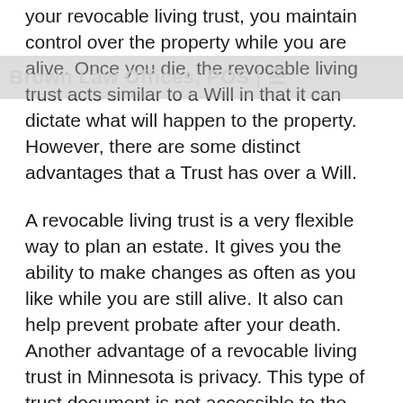Brown Law Offices, POS | =
your revocable living trust, you maintain control over the property while you are alive. Once you die, the revocable living trust acts similar to a Will in that it can dictate what will happen to the property. However, there are some distinct advantages that a Trust has over a Will.
A revocable living trust is a very flexible way to plan an estate. It gives you the ability to make changes as often as you like while you are still alive. It also can help prevent probate after your death. Another advantage of a revocable living trust in Minnesota is privacy. This type of trust document is not accessible to the public, unlike probate proceedings. There are several other advantages to revocable living trusts, and it's important to speak with a qualified estate attorney so that you can